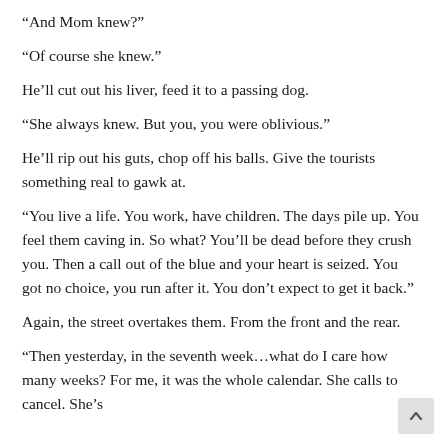“And Mom knew?”
“Of course she knew.”
He’ll cut out his liver, feed it to a passing dog.
“She always knew. But you, you were oblivious.”
He’ll rip out his guts, chop off his balls. Give the tourists something real to gawk at.
“You live a life. You work, have children. The days pile up. You feel them caving in. So what? You’ll be dead before they crush you. Then a call out of the blue and your heart is seized. You got no choice, you run after it. You don’t expect to get it back.”
Again, the street overtakes them. From the front and the rear.
“Then yesterday, in the seventh week…what do I care how many weeks? For me, it was the whole calendar. She calls to cancel. She’s